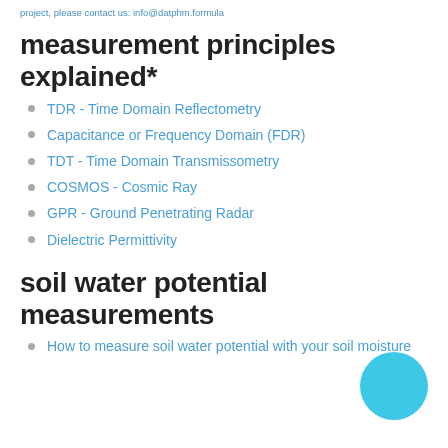project, please contact us: info@datphm.formula
measurement principles explained*
TDR - Time Domain Reflectometry
Capacitance or Frequency Domain (FDR)
TDT - Time Domain Transmissometry
COSMOS - Cosmic Ray
GPR - Ground Penetrating Radar
Dielectric Permittivity
soil water potential measurements
How to measure soil water potential with your soil moisture